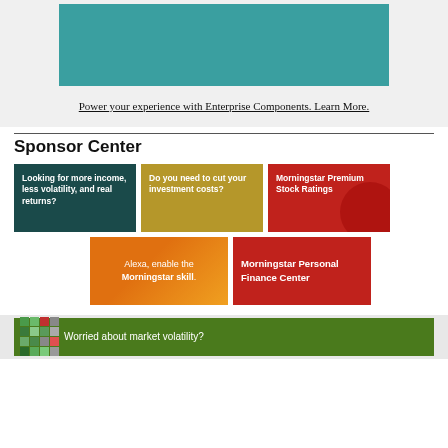[Figure (illustration): Teal/turquoise colored rectangle banner image at top]
Power your experience with Enterprise Components. Learn More.
Sponsor Center
[Figure (infographic): Sponsor ad: dark teal box - 'Looking for more income, less volatility, and real returns?']
[Figure (infographic): Sponsor ad: gold box - 'Do you need to cut your investment costs?']
[Figure (infographic): Sponsor ad: red box - 'Morningstar Premium Stock Ratings']
[Figure (infographic): Sponsor ad: orange gradient box - 'Alexa, enable the Morningstar skill.']
[Figure (infographic): Sponsor ad: bright red box - 'Morningstar Personal Finance Center']
[Figure (infographic): Bottom green banner: 'Worried about market volatility?' with grid squares]